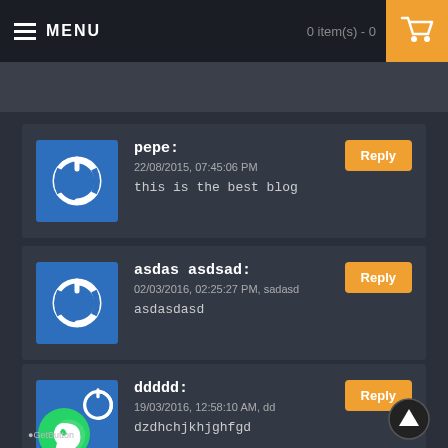MENU | 0 item(s) - 0
pepe: | 22/08/2015, 07:45:06 PM | this is the best blog
asdas asdsad: | 02/03/2016, 02:25:27 PM, sadasd | asdasdasd
ddddd: | 19/03/2016, 12:58:10 AM, dd | dzdhchjkhjghfgd